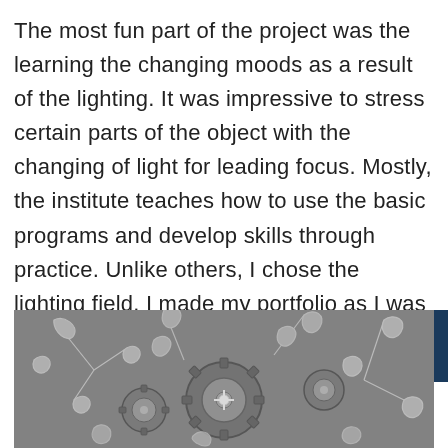The most fun part of the project was the learning the changing moods as a result of the lighting. It was impressive to stress certain parts of the object with the changing of light for leading focus. Mostly, the institute teaches how to use the basic programs and develop skills through practice. Unlike others, I chose the lighting field. I made my portfolio as I was attracted to lighting and rendering, and focused on it.
[Figure (photo): Black and white photograph of mechanical gears and clock mechanism overlaid with decorative leaf/branch patterns]